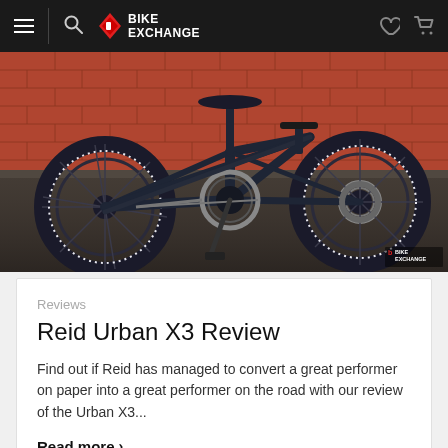[Figure (screenshot): BikeExchange website navigation bar with hamburger menu, search icon, BikeExchange logo, heart icon, and shopping cart icon on dark background]
[Figure (photo): Close-up photograph of a Reid Urban X3 bicycle drivetrain and wheels against a brick wall backdrop, on dark asphalt]
Reviews
Reid Urban X3 Review
Find out if Reid has managed to convert a great performer on paper into a great performer on the road with our review of the Urban X3...
Read more ›